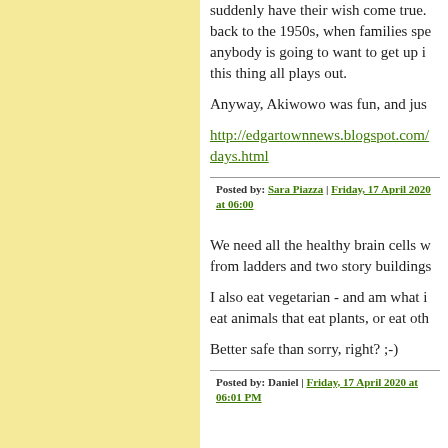suddenly have their wish come true. back to the 1950s, when families spe anybody is going to want to get up i this thing all plays out.
Anyway, Akiwowo was fun, and jus
http://edgartownnews.blogspot.com/ days.html
Posted by: Sara Piazza | Friday, 17 April 2020 at 06:00
We need all the healthy brain cells w from ladders and two story buildings
I also eat vegetarian - and am what i eat animals that eat plants, or eat oth
Better safe than sorry, right? ;-)
Posted by: Daniel | Friday, 17 April 2020 at 06:01 PM